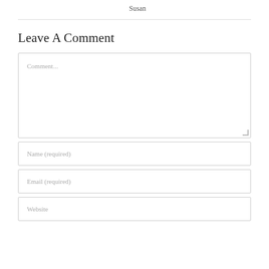Susan
Leave A Comment
Comment...
Name (required)
Email (required)
Website